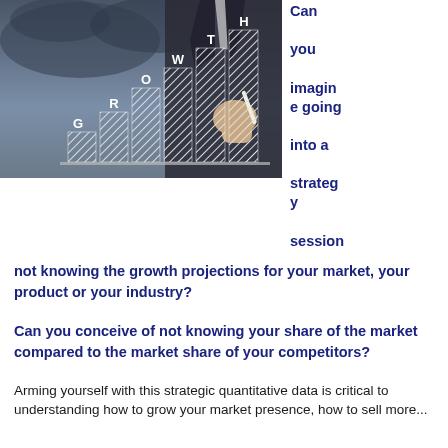[Figure (photo): A businessman in a dark suit drawing a bar chart labeled GROWTH on a dark chalkboard-style surface, with ascending hatched bars.]
Can you imagine going into a strategy session
not knowing the growth projections for your market, your product or your industry?
Can you conceive of not knowing your share of the market compared to the market share of your competitors?
Arming yourself with this strategic quantitative data is critical to understanding how to grow your market presence, how to sell more...